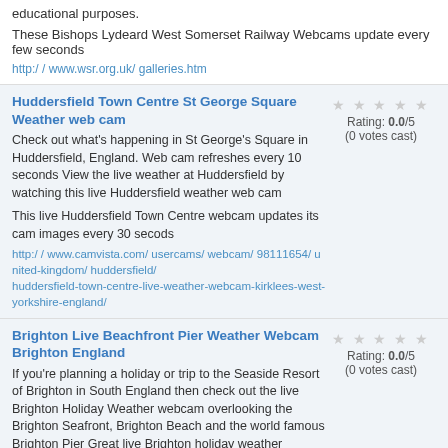educational purposes.
These Bishops Lydeard West Somerset Railway Webcams update every few seconds
http:/ / www.wsr.org.uk/ galleries.htm
Huddersfield Town Centre St George Square Weather web cam
Check out what's happening in St George's Square in Huddersfield, England. Web cam refreshes every 10 seconds  View the live weather at Huddersfield by watching this live Huddersfield weather web cam
This live Huddersfield Town Centre webcam updates its cam images every 30 secods
http:/ / www.camvista.com/ usercams/ webcam/ 98111654/ united-kingdom/ huddersfield/ huddersfield-town-centre-live-weather-webcam-kirklees-west-yorkshire-england/
Rating: 0.0/5 (0 votes cast)
Brighton Live Beachfront Pier Weather Webcam Brighton England
If you're planning a holiday or trip to the Seaside Resort of Brighton in South England then check out the live Brighton Holiday Weather webcam overlooking the Brighton Seafront, Brighton Beach and the world famous Brighton Pier   Great live Brighton holiday weather camera
This live Brighton Holiday Weather Web Cam overlooking the Brighton Pier and Brighton Beachfront is a fast refreshing Brighton web cam in
Rating: 0.0/5 (0 votes cast)